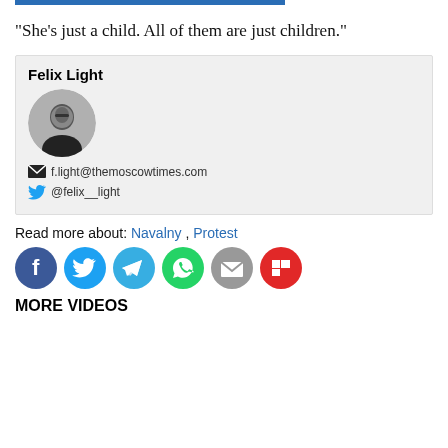“She’s just a child. All of them are just children.”
Felix Light
f.light@themoscowtimes.com
@felix__light
Read more about: Navalny , Protest
[Figure (other): Social share icons: Facebook, Twitter, Telegram, WhatsApp, Email, Flipboard]
MORE VIDEOS